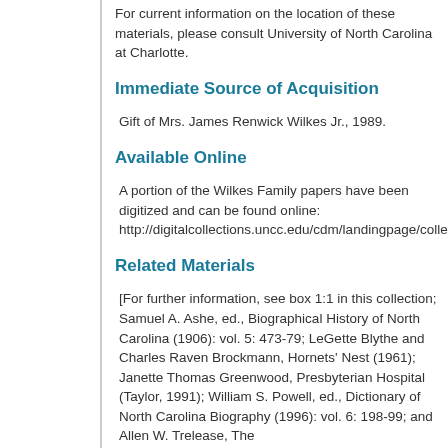For current information on the location of these materials, please consult University of North Carolina at Charlotte.
Immediate Source of Acquisition
Gift of Mrs. James Renwick Wilkes Jr., 1989.
Available Online
A portion of the Wilkes Family papers have been digitized and can be found online: http://digitalcollections.uncc.edu/cdm/landingpage/collection/p
Related Materials
[For further information, see box 1:1 in this collection; Samuel A. Ashe, ed., Biographical History of North Carolina (1906): vol. 5: 473-79; LeGette Blythe and Charles Raven Brockmann, Hornets' Nest (1961); Janette Thomas Greenwood, Presbyterian Hospital (Taylor, 1991); William S. Powell, ed., Dictionary of North Carolina Biography (1996): vol. 6: 198-99; and Allen W. Trelease, The